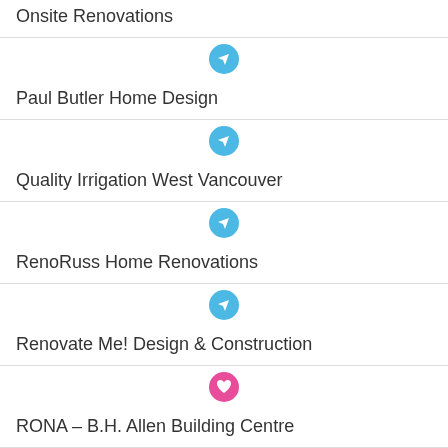Onsite Renovations
[Figure (other): Blue location/navigation icon]
Paul Butler Home Design
[Figure (other): Blue location/navigation icon]
Quality Irrigation West Vancouver
[Figure (other): Blue location/navigation icon]
RenoRuss Home Renovations
[Figure (other): Blue location/navigation icon]
Renovate Me! Design & Construction
[Figure (other): Pink heart/favorite icon]
RONA – B.H. Allen Building Centre
[Figure (other): Blue location/navigation icon]
Schmaling Construction
[Figure (other): Gold star icon, pink heart icon, green leaf/check icon]